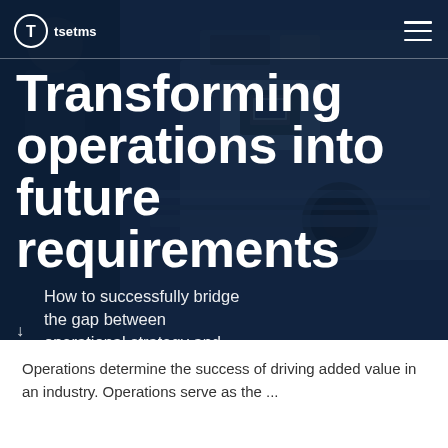[Figure (photo): Industrial machinery/manufacturing equipment with workers in background, overlaid with dark blue tint. Hero banner for a business/operations report.]
tsetms
Transforming operations into future requirements
How to successfully bridge the gap between operational strategy and the shop floor
Operations determine the success of driving added value in an industry. Operations serve as the ...